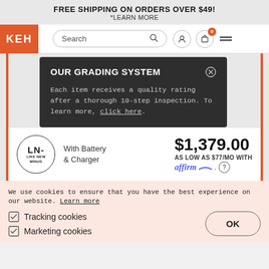FREE SHIPPING ON ORDERS OVER $49!
*LEARN MORE
[Figure (screenshot): KEH camera store navigation bar with logo, search box, account icon, cart icon with 0 badge, and hamburger menu]
OUR GRADING SYSTEM
Each item receives a quality rating after a thorough 10-step inspection. To learn more, click here.
LN- LIKE NEW MINUS
With Battery & Charger
$1,379.00
AS LOW AS $77/MO WITH affirm. (?)
We use cookies to ensure that you have the best experience on our website. Learn more
Tracking cookies
Marketing cookies